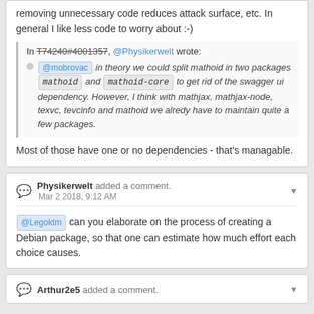removing unnecessary code reduces attack surface, etc. In general I like less code to worry about :-)
In T74240#4001357, @Physikerwelt wrote: @mobrovac in theory we could split mathoid in two packages mathoid and mathoid-core to get rid of the swagger ui dependency. However, I think with mathjax, mathjax-node, texvc, tevcinfo and mathoid we alredy have to maintain quite a few packages.
Most of those have one or no dependencies - that's managable.
Physikerwelt added a comment. Mar 2 2018, 9:12 AM
@Legoktm can you elaborate on the process of creating a Debian package, so that one can estimate how much effort each choice causes.
Arthur2e5 added a comment.